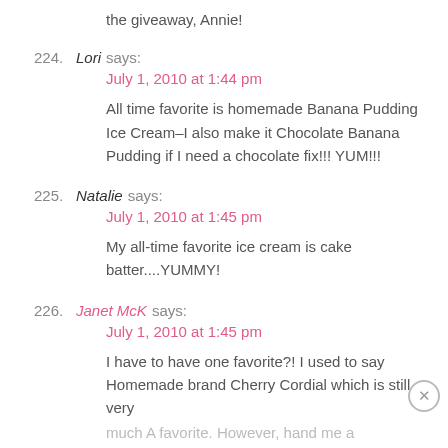the giveaway, Annie!
224. Lori says:
July 1, 2010 at 1:44 pm
All time favorite is homemade Banana Pudding Ice Cream-I also make it Chocolate Banana Pudding if I need a chocolate fix!!! YUM!!!
225. Natalie says:
July 1, 2010 at 1:45 pm
My all-time favorite ice cream is cake batter....YUMMY!
226. Janet McK says:
July 1, 2010 at 1:45 pm
I have to have one favorite?! I used to say Homemade brand Cherry Cordial which is still very much A favorite. However, hand me a blueberry and peach gelato, and I'll be in heaven.